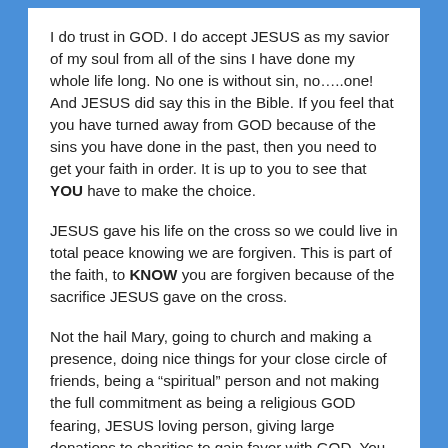I do trust in GOD. I do accept JESUS as my savior of my soul from all of the sins I have done my whole life long. No one is without sin, no…..one! And JESUS did say this in the Bible. If you feel that you have turned away from GOD because of the sins you have done in the past, then you need to get your faith in order. It is up to you to see that YOU have to make the choice.
JESUS gave his life on the cross so we could live in total peace knowing we are forgiven. This is part of the faith, to KNOW you are forgiven because of the sacrifice JESUS gave on the cross.
Not the hail Mary, going to church and making a presence, doing nice things for your close circle of friends, being a “spiritual” person and not making the full commitment as being a religious GOD fearing, JESUS loving person, giving large donations to charities to gain favor with GOD. You can give to charities, but not to use it to pay your way into heaven. If that were the case there would be all kinds of people paying their way into heaven. It would be worse